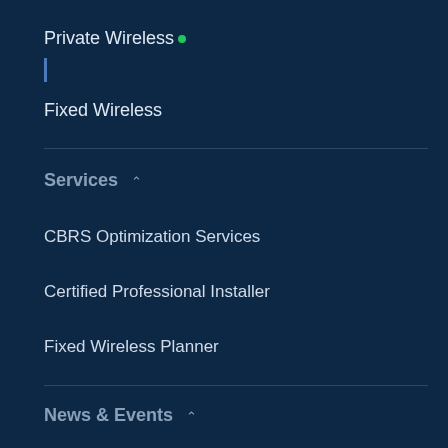Private Wireless
Fixed Wireless
Services
CBRS Optimization Services
Certified Professional Installer
Fixed Wireless Planner
News & Events
Press Releases
Media Coverage
Events
Solutions